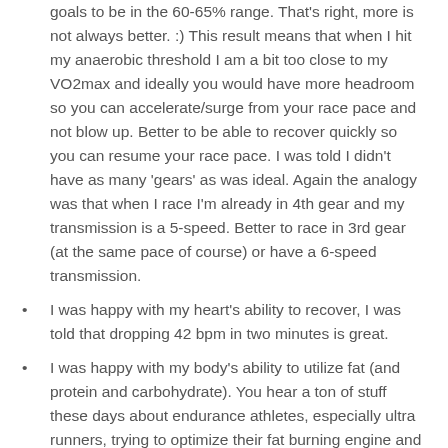goals to be in the 60-65% range. That's right, more is not always better. :) This result means that when I hit my anaerobic threshold I am a bit too close to my VO2max and ideally you would have more headroom so you can accelerate/surge from your race pace and not blow up. Better to be able to recover quickly so you can resume your race pace. I was told I didn't have as many 'gears' as was ideal. Again the analogy was that when I race I'm already in 4th gear and my transmission is a 5-speed. Better to race in 3rd gear (at the same pace of course) or have a 6-speed transmission.
I was happy with my heart's ability to recover, I was told that dropping 42 bpm in two minutes is great.
I was happy with my body's ability to utilize fat (and protein and carbohydrate). You hear a ton of stuff these days about endurance athletes, especially ultra runners, trying to optimize their fat burning engine and mine is just fine.